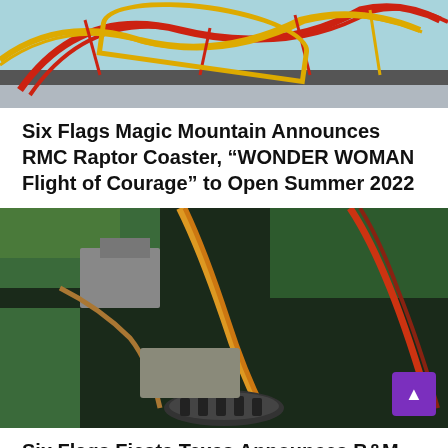[Figure (photo): Aerial or close-up view of a roller coaster with red and yellow track structure against a blue sky background]
Six Flags Magic Mountain Announces RMC Raptor Coaster, “WONDER WOMAN Flight of Courage” to Open Summer 2022
[Figure (photo): Aerial view looking straight down from a roller coaster ride over a theme park, showing tracks, trees, buildings and other rides below, with riders visible at the bottom]
Six Flags Fiesta Texas Announces B&M Dive